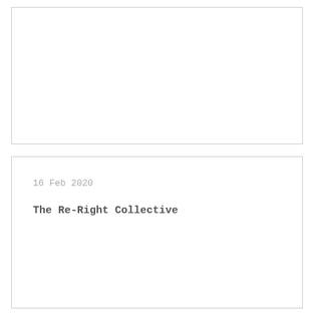[Figure (other): Empty white box with light gray border, top portion of page]
16 Feb 2020
The Re-Right Collective